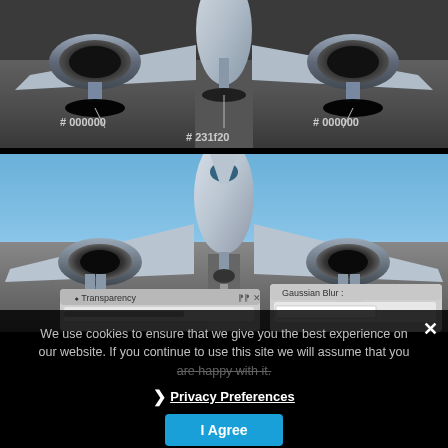[Figure (illustration): Front view of a commercial airplane close-up on a runway, showing landing gear and engines with color swatches labeled #000000, #000000, #231f20 pointing to shadow areas beneath the engines and fuselage.]
[Figure (screenshot): Full front view of a commercial airplane on a runway with blue sky background, shown with a Transparency panel and Gaussian Blur dialog panel visible at the bottom of the image.]
We use cookies to ensure that we give you the best experience on our website. If you continue to use this site we will assume that you are happy with it.
Privacy Preferences
I Agree